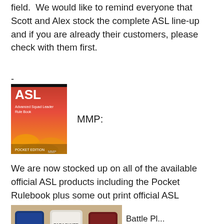field.  We would like to remind everyone that Scott and Alex stock the complete ASL line-up and if you are already their customers, please check with them first.
-
[Figure (photo): ASL Rule Book cover - red/orange cover with ASL text and subtitle, showing the Pocket Rulebook product]
MMP:
We are now stocked up on all of the available official ASL products including the Pocket Rulebook plus some out print official ASL products.
[Figure (photo): Photo of ASL game pieces/counters showing parachute and airborne unit markers]
Battle Pl...